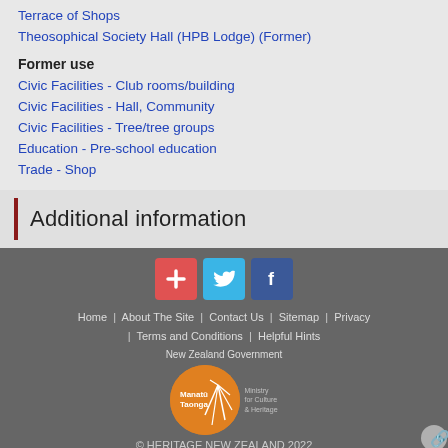Terrace of Shops
Theosophical Society Hall (HPB Lodge) (Former)
Former use
Civic Facilities - Club rooms/building
Civic Facilities - Hall, Community
Civic Facilities - Tree/tree groups
Education - Pre-school education
Trade - Shop
Additional information
[Figure (infographic): Footer with social media icons (red plus/add, blue Twitter bird, dark blue Facebook f), navigation links (Home, About The Site, Contact Us, Sitemap, Privacy, Terms and Conditions, Helpful Hints), New Zealand Government logo with Manatu Taonga Ministry for Culture and Heritage orange circle badge, copyright notice, and scroll-to-top icon]
© HERITAGE NEW ZEALAND 2022